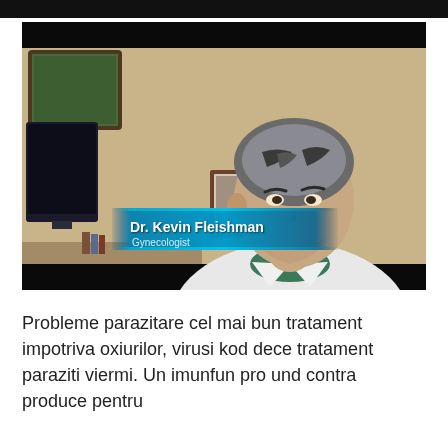[Figure (photo): Video screenshot of Dr. Kevin Fleishman, Gynecologist, seated at a desk in a white coat in an office setting. A lower-third graphic overlay shows his name and title.]
Probleme parazitare cel mai bun tratament impotriva oxiurilor, virusi kod dece tratament paraziti viermi. Un imunfun pro und contra produce pentru